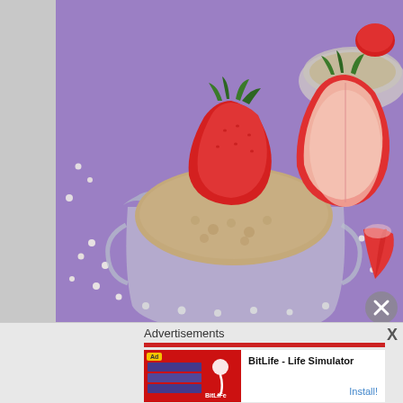[Figure (photo): Food photograph showing glass dessert bowls filled with a creamy tapioca or rice pudding topped with fresh strawberries (one whole, one halved) on a purple background with scattered small white pearls/balls. A second glass bowl with strawberry is visible in the upper right.]
Advertisements
[Figure (screenshot): Advertisement banner for BitLife - Life Simulator app. Shows 'Ad' badge, app screenshot thumbnails on red background, BitLife logo with sperm cell icon, text 'BitLife - Life Simulator' and 'Install!' link.]